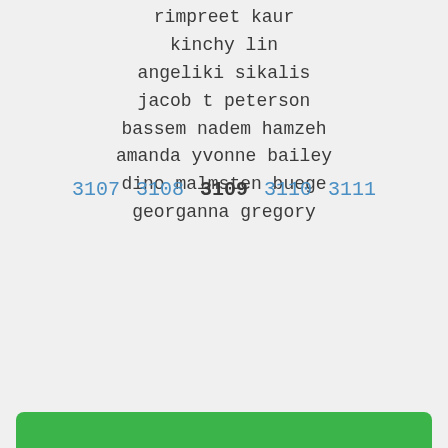rimpreet kaur
kinchy lin
angeliki sikalis
jacob t peterson
bassem nadem hamzeh
amanda yvonne bailey
dino malmsten buege
georganna gregory
3107 3108 3109 3110 3111